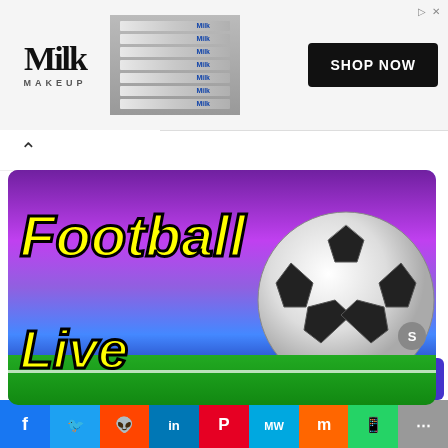[Figure (photo): Milk Makeup advertisement banner with pencils/makeup and Shop Now button]
[Figure (photo): Football Live HD app promotional image with yellow bold text 'Football Live' on purple/blue gradient background with soccer ball and green grass]
How To Install Football Live HD APK On Android TV & Firestick
[Figure (infographic): Social media share bar with Facebook, Twitter, Reddit, LinkedIn, Pinterest, MeWe, Mix, WhatsApp, and share icons]